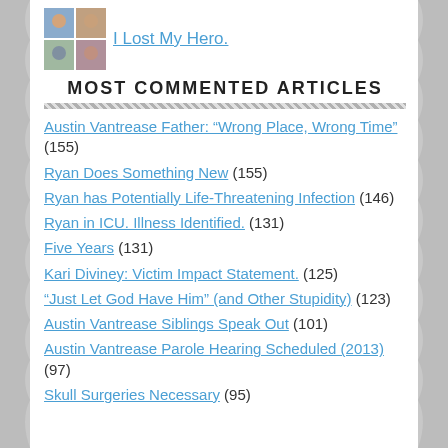[Figure (photo): Small avatar image grid showing photos of people]
I Lost My Hero.
MOST COMMENTED ARTICLES
Austin Vantrease Father: "Wrong Place, Wrong Time" (155)
Ryan Does Something New (155)
Ryan has Potentially Life-Threatening Infection (146)
Ryan in ICU. Illness Identified. (131)
Five Years (131)
Kari Diviney: Victim Impact Statement. (125)
"Just Let God Have Him" (and Other Stupidity) (123)
Austin Vantrease Siblings Speak Out (101)
Austin Vantrease Parole Hearing Scheduled (2013) (97)
Skull Surgeries Necessary (95)